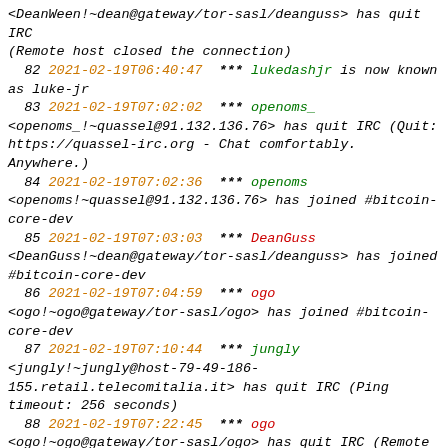<DeanWeen!~dean@gateway/tor-sasl/deanguss> has quit IRC (Remote host closed the connection)
82 2021-02-19T06:40:47 *** lukedashjr is now known as luke-jr
83 2021-02-19T07:02:02 *** openoms_ <openoms_!~quassel@91.132.136.76> has quit IRC (Quit: https://quassel-irc.org - Chat comfortably. Anywhere.)
84 2021-02-19T07:02:36 *** openoms <openoms!~quassel@91.132.136.76> has joined #bitcoin-core-dev
85 2021-02-19T07:03:03 *** DeanGuss <DeanGuss!~dean@gateway/tor-sasl/deanguss> has joined #bitcoin-core-dev
86 2021-02-19T07:04:59 *** ogo <ogo!~ogo@gateway/tor-sasl/ogo> has joined #bitcoin-core-dev
87 2021-02-19T07:10:44 *** jungly <jungly!~jungly@host-79-49-186-155.retail.telecomitalia.it> has quit IRC (Ping timeout: 256 seconds)
88 2021-02-19T07:22:45 *** ogo <ogo!~ogo@gateway/tor-sasl/ogo> has quit IRC (Remote host closed the connection)
89 2021-02-19T07:23:08 *** ogo <ogo!~ogo@gateway/tor-sasl/ogo> has joined #bitcoin-core-dev
90 2021-02-19T07:24:38 *** jungly <jungly!~jungly@host-79-49-186-